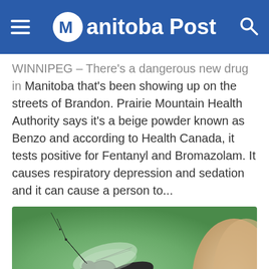Manitoba Post
WINNIPEG – There's a dangerous new drug in Manitoba that's been showing up on the streets of Brandon. Prairie Mountain Health Authority says it's a beige powder known as Benzo and according to Health Canada, it tests positive for Fentanyl and Bromazolam. It causes respiratory depression and sedation and it can cause a person to...
[Figure (photo): Close-up photo of a mosquito biting human skin, with a green blurred background]